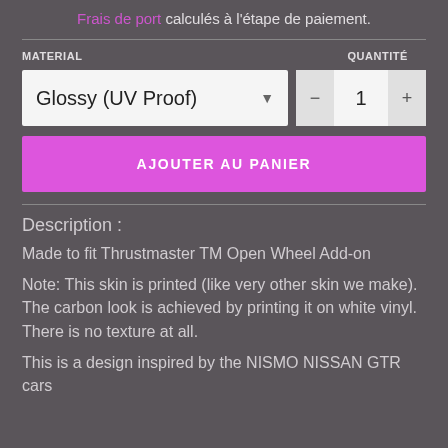Frais de port calculés à l'étape de paiement.
MATERIAL
QUANTITÉ
Glossy (UV Proof)
1
AJOUTER AU PANIER
Description :
Made to fit Thrustmaster TM Open Wheel Add-on
Note: This skin is printed (like very other skin we make). The carbon look is achieved by printing it on white vinyl. There is no texture at all.
This is a design inspired by the NISMO NISSAN GTR cars